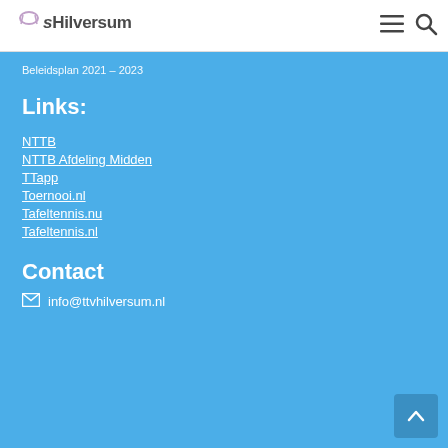Hilversum
Beleidsplan 2021 – 2023
Links:
NTTB
NTTB Afdeling Midden
TTapp
Toernooi.nl
Tafeltennis.nu
Tafeltennis.nl
Contact
info@ttvhilversum.nl